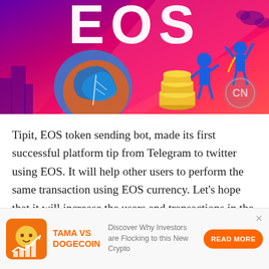[Figure (illustration): EOS cryptocurrency promotional banner with colorful illustration showing EOS logo text, leaf/EOS token graphic, gold coins stacked, two celebrating figures, and CN logo watermark on a purple-pink-red gradient background.]
Tipit, EOS token sending bot, made its first successful platform tip from Telegram to twitter using EOS. It will help other users to perform the same transaction using EOS currency. Let's hope that it will increase the users and transactions in the network soon.
[Figure (infographic): Advertisement banner for TAMA VS DOGECOIN featuring a coin icon with dog and upward trending chart, orange text 'TAMA VS DOGECOIN', gray description text 'Discover Why Investors are Flocking to this New Crypto', and an orange 'READ MORE' button.]